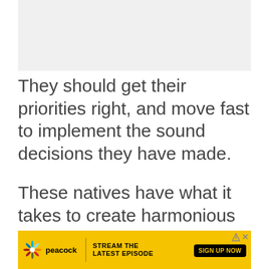[Figure (photo): Gray placeholder image area at top of page]
They should get their priorities right, and move fast to implement the sound decisions they have made.
These natives have what it takes to create harmonious relationships. This is a big plus for them, considering that many other people are still struggling to get their priorities right.
[Figure (other): Peacock streaming advertisement banner: 'STREAM THE LATEST EPISODE' with 'SIGN UP NOW' button]